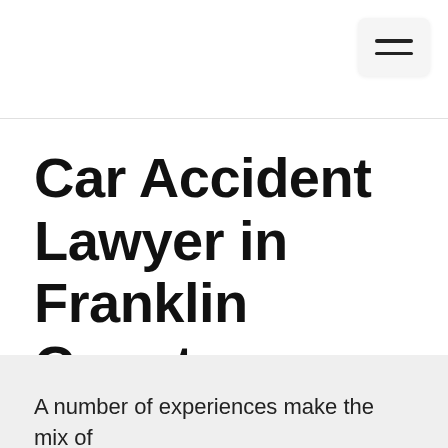[Figure (other): Hamburger menu button icon with three horizontal bars on a light gray rounded rectangle background]
Car Accident Lawyer in Franklin County, Massachusetts
A number of experiences make the mix of